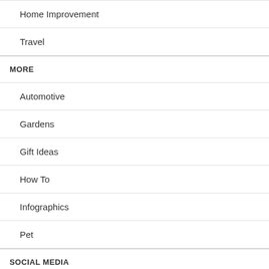Home Improvement
Travel
MORE
Automotive
Gardens
Gift Ideas
How To
Infographics
Pet
SOCIAL MEDIA
Facebook
Instagram